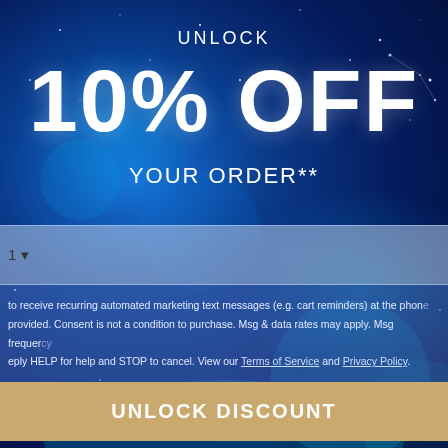UNLOCK
10% OFF
YOUR ORDER**
1
to receive recurring automated marketing text messages (e.g. cart reminders) at the phone provided. Consent is not a condition to purchase. Msg & data rates may apply. Msg frequency vary. Reply HELP for help and STOP to cancel. View our Terms of Service and Privacy Policy.
UNLOCK DISCOUNT
No Thanks